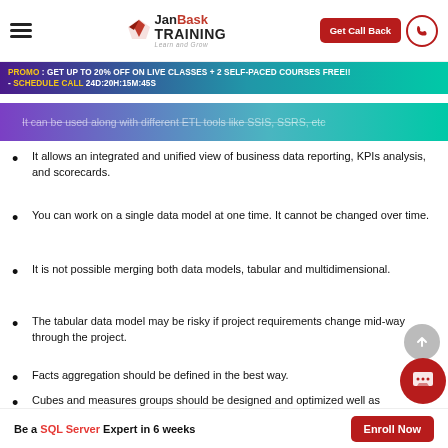JanBask Training — Get Call Back
PROMO : GET UP TO 20% OFF ON LIVE CLASSES + 2 SELF-PACED COURSES FREE!! - SCHEDULE CALL 24D:20H:15M:45S
It can be used along with different ETL tools like SSIS, SSRS, etc
It allows an integrated and unified view of business data reporting, KPIs analysis, and scorecards.
You can work on a single data model at one time. It cannot be changed over time.
It is not possible merging both data models, tabular and multidimensional.
The tabular data model may be risky if project requirements change mid-way through the project.
Facts aggregation should be defined in the best way.
Cubes and measures groups should be designed and optimized well as per the business requirements.
Be a SQL Server Expert in 6 weeks  Enroll Now